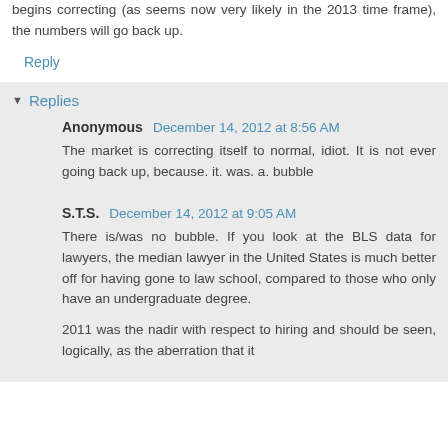begins correcting (as seems now very likely in the 2013 time frame), the numbers will go back up.
Reply
Replies
Anonymous December 14, 2012 at 8:56 AM
The market is correcting itself to normal, idiot. It is not ever going back up, because. it. was. a. bubble
S.T.S. December 14, 2012 at 9:05 AM
There is/was no bubble. If you look at the BLS data for lawyers, the median lawyer in the United States is much better off for having gone to law school, compared to those who only have an undergraduate degree.
2011 was the nadir with respect to hiring and should be seen, logically, as the aberration that it